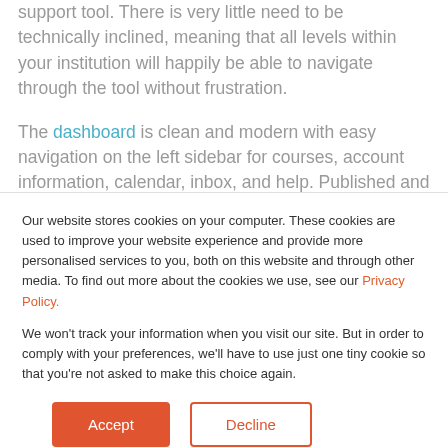support tool. There is very little need to be technically inclined, meaning that all levels within your institution will happily be able to navigate through the tool without frustration.
The dashboard is clean and modern with easy navigation on the left sidebar for courses, account information, calendar, inbox, and help. Published and unpublished courses are displayed on your default home. The settings
Our website stores cookies on your computer. These cookies are used to improve your website experience and provide more personalised services to you, both on this website and through other media. To find out more about the cookies we use, see our Privacy Policy.

We won't track your information when you visit our site. But in order to comply with your preferences, we'll have to use just one tiny cookie so that you're not asked to make this choice again.